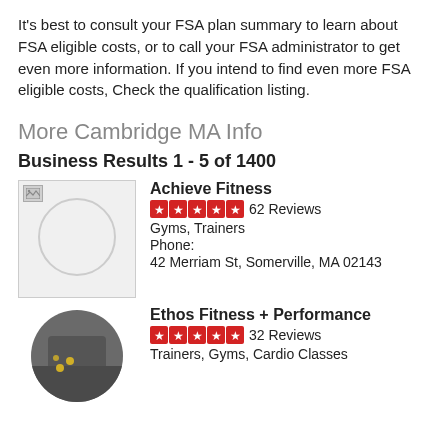It's best to consult your FSA plan summary to learn about FSA eligible costs, or to call your FSA administrator to get even more information. If you intend to find even more FSA eligible costs, Check the qualification listing.
More Cambridge MA Info
Business Results 1 - 5 of 1400
[Figure (photo): Achieve Fitness logo placeholder with broken image icon and circle outline]
Achieve Fitness
5 stars 62 Reviews
Gyms, Trainers
Phone:
42 Merriam St, Somerville, MA 02143
[Figure (photo): Ethos Fitness + Performance photo showing people doing fitness exercises]
Ethos Fitness + Performance
5 stars 32 Reviews
Trainers, Gyms, Cardio Classes